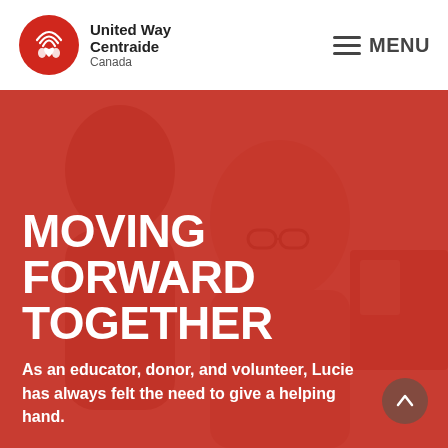[Figure (logo): United Way Centraide Canada logo — red circular icon with hands and heart symbol, followed by organization name in bold]
United Way Centraide Canada   MENU
[Figure (photo): Hero image showing two people, one wearing glasses, with a red color overlay. Large bold white text reads MOVING FORWARD TOGETHER with a subtitle about Lucie.]
MOVING FORWARD TOGETHER
As an educator, donor, and volunteer, Lucie has always felt the need to give a helping hand.